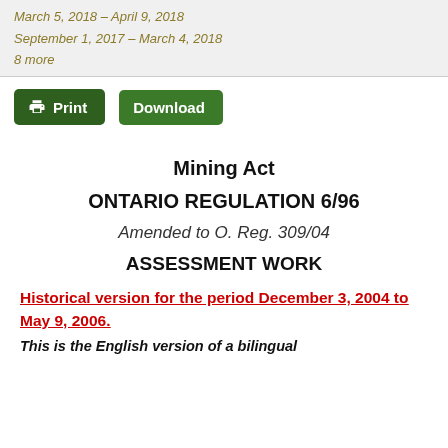March 5, 2018 – April 9, 2018
September 1, 2017 – March 4, 2018
8 more
Mining Act
ONTARIO REGULATION 6/96
Amended to O. Reg. 309/04
ASSESSMENT WORK
Historical version for the period December 3, 2004 to May 9, 2006.
This is the English version of a bilingual